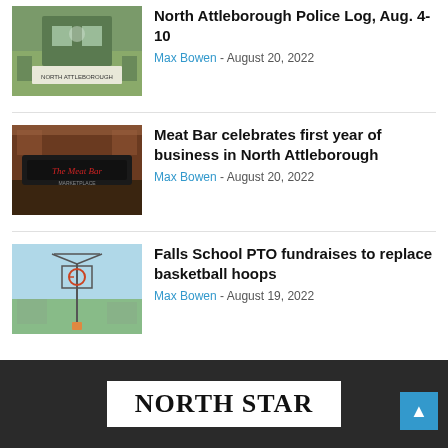[Figure (photo): North Attleborough Police facility sign with brick building and lawn]
North Attleborough Police Log, Aug. 4-10
Max Bowen - August 20, 2022
[Figure (photo): The Meat Bar Marketplace sign on brick building]
Meat Bar celebrates first year of business in North Attleborough
Max Bowen - August 20, 2022
[Figure (photo): Basketball hoop at Falls School outdoor court]
Falls School PTO fundraises to replace basketball hoops
Max Bowen - August 19, 2022
NORTH STAR